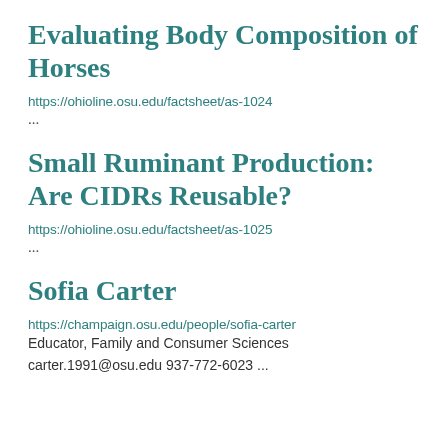Evaluating Body Composition of Horses
https://ohioline.osu.edu/factsheet/as-1024
...
Small Ruminant Production: Are CIDRs Reusable?
https://ohioline.osu.edu/factsheet/as-1025
...
Sofia Carter
https://champaign.osu.edu/people/sofia-carter
Educator, Family and Consumer Sciences
carter.1991@osu.edu 937-772-6023 ...